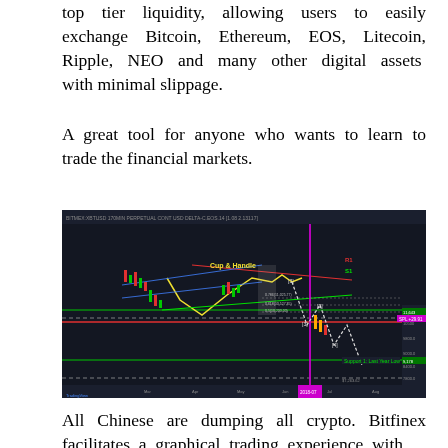top tier liquidity, allowing users to easily exchange Bitcoin, Ethereum, EOS, Litecoin, Ripple, NEO and many other digital assets with minimal slippage.
A great tool for anyone who wants to learn to trade the financial markets.
[Figure (screenshot): A cryptocurrency trading chart screenshot showing a dark-themed charting platform with candlestick price data, technical analysis overlays including a Cup & Handle pattern drawn in yellow, support and resistance lines in green and red, Fibonacci retracement levels, Elliott wave labels, and a vertical magenta line. The chart shows Bitcoin or similar crypto price with annotations for support levels including 'Support 1: Last Year Low' in green text.]
All Chinese are dumping all crypto. Bitfinex facilitates a graphical trading experience with